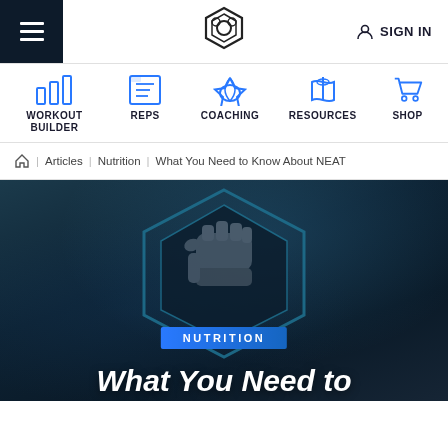Navigation bar with hamburger menu, logo, and SIGN IN
WORKOUT BUILDER | REPS | COACHING | RESOURCES | SHOP
Home : Articles : Nutrition : What You Need to Know About NEAT
[Figure (illustration): Hero image with dark blue background, hexagon badge with fist icon, NUTRITION label, and partial article title]
What You Need to